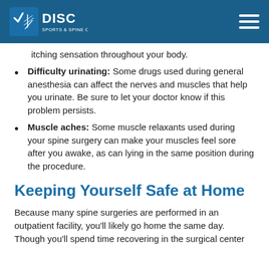DISC SPORTS & SPINE CENTER
itching sensation throughout your body.
Difficulty urinating: Some drugs used during general anesthesia can affect the nerves and muscles that help you urinate. Be sure to let your doctor know if this problem persists.
Muscle aches: Some muscle relaxants used during your spine surgery can make your muscles feel sore after you awake, as can lying in the same position during the procedure.
Keeping Yourself Safe at Home
Because many spine surgeries are performed in an outpatient facility, you'll likely go home the same day. Though you'll spend time recovering in the surgical center